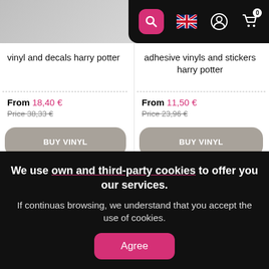[Figure (screenshot): Navigation bar with search, UK flag, account, and cart icons on black background]
[Figure (photo): Partial product image left - vinyl decals harry potter]
[Figure (photo): Partial product image right - adhesive vinyls stickers harry potter]
vinyl and decals harry potter
adhesive vinyls and stickers harry potter
From 18,40 €
Price 38,33 €
From 11,50 €
Price 23,96 €
BUY VINYL
BUY VINYL
We use own and third-party cookies to offer you our services.
If continuas browsing, we understand that you accept the use of cookies.
Agree